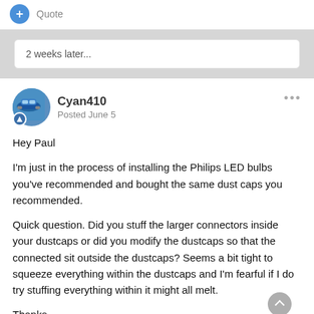+ Quote
2 weeks later...
Cyan410
Posted June 5
Hey Paul

I'm just in the process of installing the Philips LED bulbs you've recommended and bought the same dust caps you recommended.

Quick question.  Did you stuff the larger connectors inside your dustcaps or did you modify the dustcaps so that the connected sit outside the dustcaps?  Seems a bit tight to squeeze everything within the dustcaps and I'm fearful if I do try stuffing everything within it might all melt.

Thanks